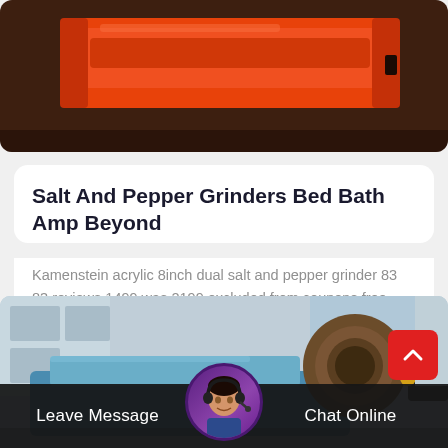[Figure (photo): Red/orange industrial plastic object (channel or chute) on a dark brown surface, viewed from above at an angle.]
Salt And Pepper Grinders Bed Bath Amp Beyond
Kamenstein acrylic 8inch dual salt and pepper grinder 83 83 reviews 1499 was 2199 excluded from coupons free shipping on orders over 19…
[Figure (photo): Industrial blue ball mill or grinding machine with a large drum and motor, photographed outdoors near a building.]
Leave Message
Chat Online